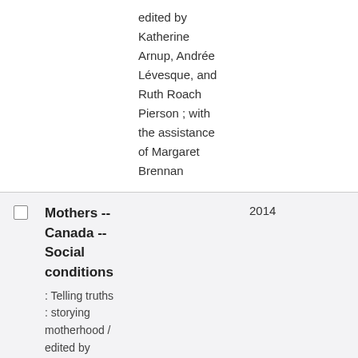edited by Katherine Arnup, Andrée Lévesque, and Ruth Roach Pierson ; with the assistance of Margaret Brennan
Mothers -- Canada -- Social conditions : Telling truths : storying motherhood / edited by
2014
1